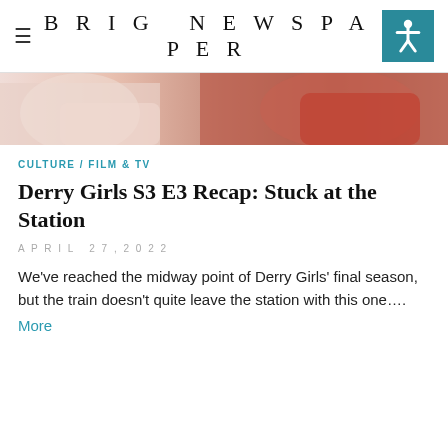BRIG NEWSPAPER
[Figure (photo): Partial view of people, one in a red top, likely seated, cropped at the top of the article]
CULTURE / FILM & TV
Derry Girls S3 E3 Recap: Stuck at the Station
APRIL 27, 2022
We've reached the midway point of Derry Girls' final season, but the train doesn't quite leave the station with this one….
More